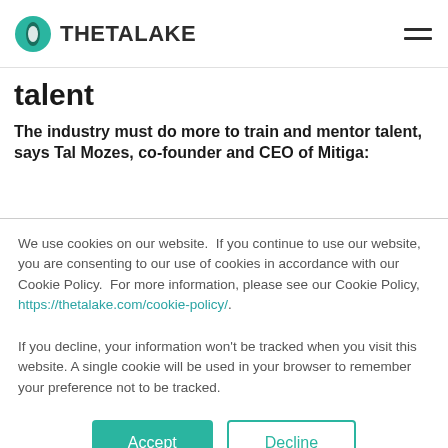THETALAKE
talent
The industry must do more to train and mentor talent, says Tal Mozes, co-founder and CEO of Mitiga:
We use cookies on our website.  If you continue to use our website, you are consenting to our use of cookies in accordance with our Cookie Policy.  For more information, please see our Cookie Policy, https://thetalake.com/cookie-policy/.
If you decline, your information won't be tracked when you visit this website. A single cookie will be used in your browser to remember your preference not to be tracked.